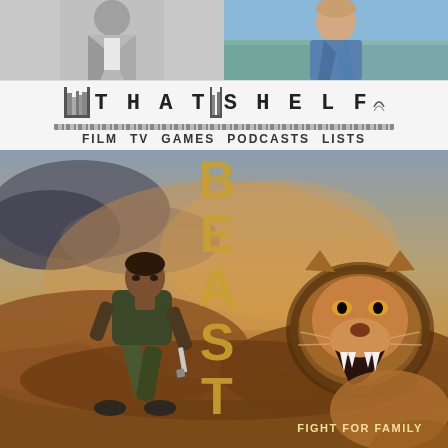[Figure (photo): Two photos at top: left photo shows a person in a light suit (black and white/grayscale), right photo shows a man in a blue shirt outdoors]
[Figure (logo): That Shelf logo with bookshelf icon, text reads THAT SHELF with a shelf-line graphic below, navigation bar with FILM TV GAMES PODCASTS LISTS]
[Figure (photo): Beast (2022) movie poster showing a man crouching with a knife facing a roaring lion, with the word BEAST written vertically in gold letters and FIGHT FOR FAMILY text at the bottom right]